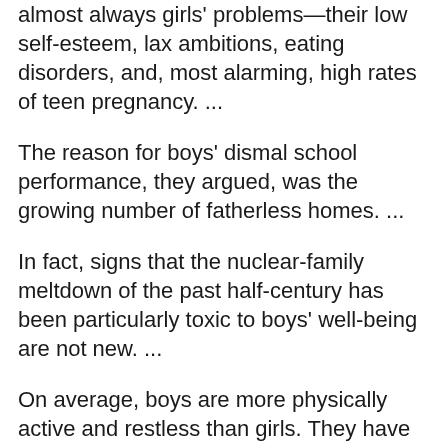almost always girls' problems—their low self-esteem, lax ambitions, eating disorders, and, most alarming, high rates of teen pregnancy. ...
The reason for boys' dismal school performance, they argued, was the growing number of fatherless homes. ...
In fact, signs that the nuclear-family meltdown of the past half-century has been particularly toxic to boys' well-being are not new. ...
On average, boys are more physically active and restless than girls. They have less self-control and are more easily distracted. They take longer to mature. They have a harder time sitting still, paying attention, and following rules, especially in the early years of school. ...
Boys — not girls — often require remedial education to sit still, to look at the person speaking to them, to finish the task they were